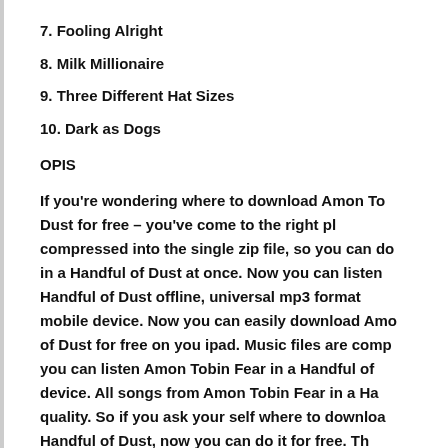7. Fooling Alright
8. Milk Millionaire
9. Three Different Hat Sizes
10. Dark as Dogs
OPIS
If you're wondering where to download Amon Tobin Fear in a Handful of Dust for free – you've come to the right place. Album is compressed into the single zip file, so you can download Amon Tobin Fear in a Handful of Dust at once. Now you can listen to Amon Tobin Fear in a Handful of Dust offline, universal mp3 format is compatible with any mobile device. Now you can easily download Amon Tobin Fear in a Handful of Dust for free on you ipad. Music files are compressed in zip archive, so you can listen Amon Tobin Fear in a Handful of Dust on any device. All songs from Amon Tobin Fear in a Handful of Dust are in HD quality. So if you ask your self where to download Amon Tobin Fear in a Handful of Dust, now you can do it for free. The Amon Tobin Fear in a Handful of Dust release date is April 26th 2019. You can download Amon Tobin Fear in a Handful of Dust for free, and ...
Recent search terms:
Amon Tobin Fear in a Handful of Dust download z